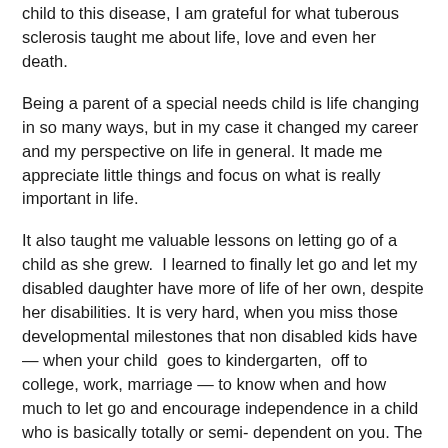child to this disease, I am grateful for what tuberous sclerosis taught me about life, love and even her death.
Being a parent of a special needs child is life changing in so many ways, but in my case it changed my career and my perspective on life in general. It made me appreciate little things and focus on what is really important in life.
It also taught me valuable lessons on letting go of a child as she grew.  I learned to finally let go and let my disabled daughter have more of life of her own, despite her disabilities. It is very hard, when you miss those developmental milestones that non disabled kids have — when your child  goes to kindergarten,  off to college, work, marriage — to know when and how much to let go and encourage independence in a child who is basically totally or semi- dependent on you. The need to protect our vulnerable child is great and the tendency to overprotect always exists.